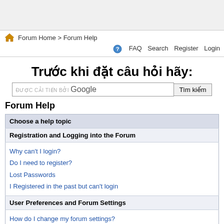[Figure (other): Advertisement banner at top of page]
Forum Home > Forum Help
FAQ  Search  Register  Login
Trước khi đặt câu hỏi hãy:
ĐƯỢC CẢI TIẾN BỞI Google  [Tìm kiếm]
Forum Help
| Choose a help topic |
| Registration and Logging into the Forum |
| Why can't I login?
Do I need to register?
Lost Passwords
I Registered in the past but can't login |
| User Preferences and Forum Settings |
| How do I change my forum settings? |